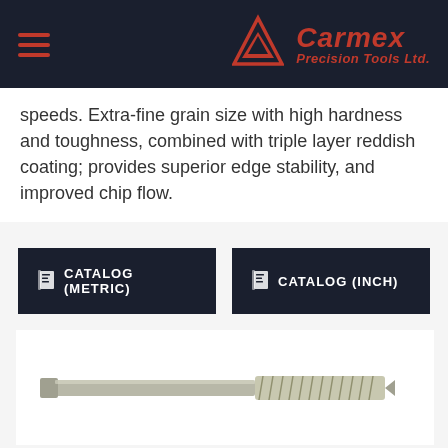Carmex Precision Tools Ltd.
speeds. Extra-fine grain size with high hardness and toughness, combined with triple layer reddish coating; provides superior edge stability, and improved chip flow.
[Figure (other): CATALOG (METRIC) button - dark navy blue rectangular button with book/catalog icon and white bold text]
[Figure (other): CATALOG (INCH) button - dark navy blue rectangular button with book/catalog icon and white bold text]
[Figure (photo): Photo of a Carmex precision threading tool / tap with metallic silver/grey finish with spiral fluting, shown on white background]